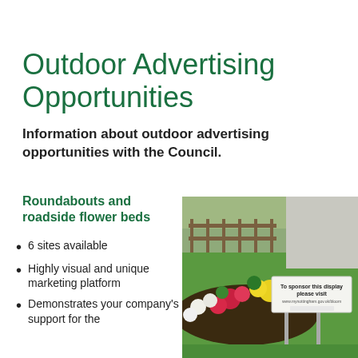Outdoor Advertising Opportunities
Information about outdoor advertising opportunities with the Council.
Roundabouts and roadside flower beds
6 sites available
Highly visual and unique marketing platform
Demonstrates your company's support for the
[Figure (photo): A photo of a colourful flower bed roundabout with a white sponsorship sign on two metal poles reading 'To sponsor this display please visit www.mynottingham.gov.uk/bloom' with council logos.]